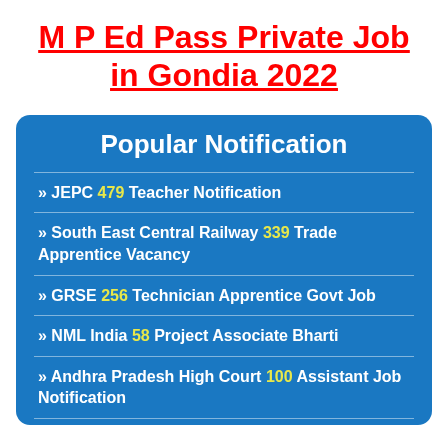M P Ed Pass Private Job in Gondia 2022
Popular Notification
» JEPC 479 Teacher Notification
» South East Central Railway 339 Trade Apprentice Vacancy
» GRSE 256 Technician Apprentice Govt Job
» NML India 58 Project Associate Bharti
» Andhra Pradesh High Court 100 Assistant Job Notification